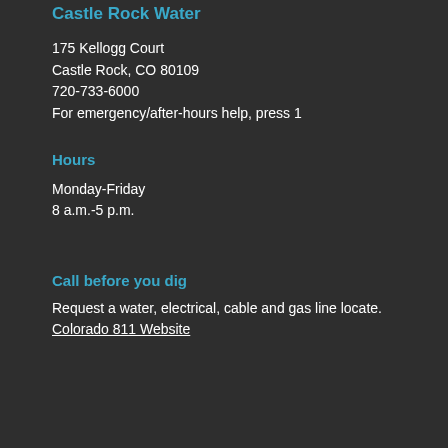Castle Rock Water
175 Kellogg Court
Castle Rock, CO 80109
720-733-6000
For emergency/after-hours help, press 1
Hours
Monday-Friday
8 a.m.-5 p.m.
Call before you dig
Request a water, electrical, cable and gas line locate.
Colorado 811 Website